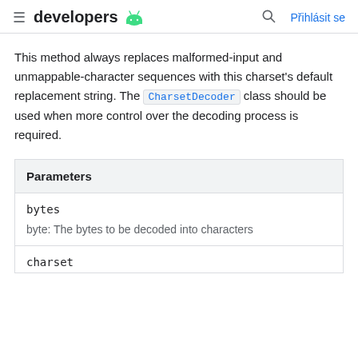developers   Přihlásit se
This method always replaces malformed-input and unmappable-character sequences with this charset's default replacement string. The CharsetDecoder class should be used when more control over the decoding process is required.
| Parameters |
| --- |
| bytes | byte: The bytes to be decoded into characters |
| charset |  |